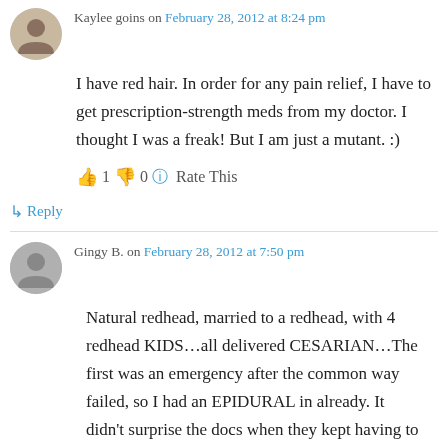Kaylee goins on February 28, 2012 at 8:24 pm
I have red hair. In order for any pain relief, I have to get prescription-strength meds from my doctor. I thought I was a freak! But I am just a mutant. :)
👍 1 👎 0 ℹ Rate This
↳ Reply
Gingy B. on February 28, 2012 at 7:50 pm
Natural redhead, married to a redhead, with 4 redhead KIDS…all delivered CESARIAN…The first was an emergency after the common way failed, so I had an EPIDURAL in already. It didn't surprise the docs when they kept having to add to the dose during the procedure. (supposed to